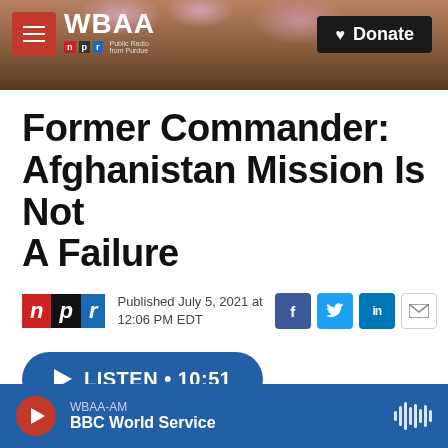[Figure (screenshot): WBAA radio station website header with tree/nature photo background, hamburger menu, WBAA NPR logo, and Donate button]
Former Commander: Afghanistan Mission Is Not A Failure
Published July 5, 2021 at 12:06 PM EDT
[Figure (logo): NPR logo with n (red), p (black), r (blue) blocks]
LISTEN • 10:51
WBAA-AM BBC World Service